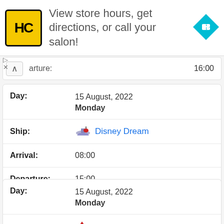[Figure (logo): HC hair salon ad banner with yellow logo and navigation arrow icon, text: View store hours, get directions, or call your salon!]
arture: 16:00
| Field | Value |
| --- | --- |
| Day: | 15 August, 2022 Monday |
| Ship: | Disney Dream |
| Arrival: | 08:00 |
| Departure: | 15:00 |
| Field | Value |
| --- | --- |
| Day: | 15 August, 2022 Monday |
| Ship: | Carnival Conquest |